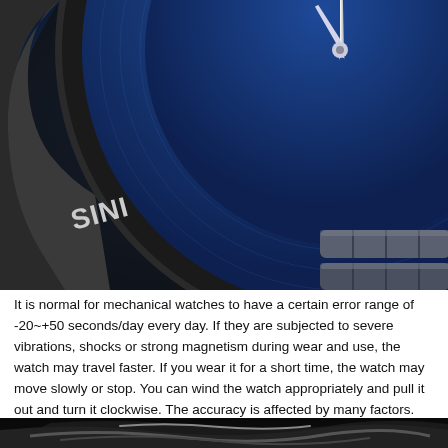[Figure (photo): Close-up macro photograph of a blue dial automatic watch (SINI brand) with silver hands, hour markers, and a stainless steel bracelet against a dark background.]
It is normal for mechanical watches to have a certain error range of -20~+50 seconds/day every day. If they are subjected to severe vibrations, shocks or strong magnetism during wear and use, the watch may travel faster. If you wear it for a short time, the watch may move slowly or stop. You can wind the watch appropriately and pull it out and turn it clockwise. The accuracy is affected by many factors.
[Figure (photo): Close-up photograph of a metal watch bracelet/clasp in dark tones against a black background.]